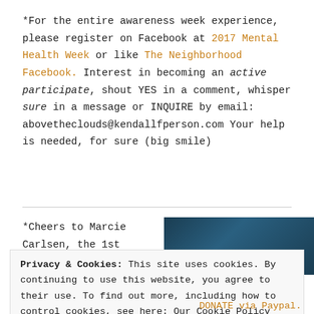*For the entire awareness week experience, please register on Facebook at 2017 Mental Health Week or like The Neighborhood Facebook. Interest in becoming an active participate, shout YES in a comment, whisper sure in a message or INQUIRE by email: abovetheclouds@kendallfperson.com Your help is needed, for sure (big smile)
*Cheers to Marcie Carlsen, the 1st
[Figure (photo): Dark blue/teal gradient image block partially visible on the right side of the page]
Privacy & Cookies: This site uses cookies. By continuing to use this website, you agree to their use. To find out more, including how to control cookies, see here: Our Cookie Policy
Close and accept
DONATE via Paypal.